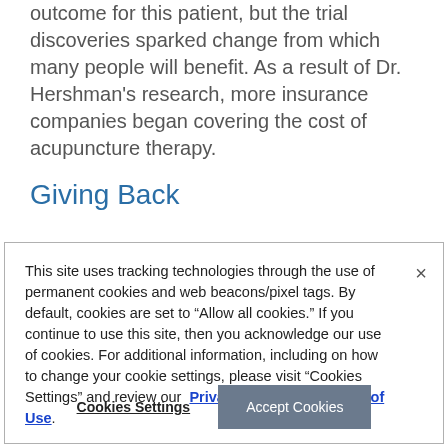outcome for this patient, but the trial discoveries sparked change from which many people will benefit. As a result of Dr. Hershman's research, more insurance companies began covering the cost of acupuncture therapy.
Giving Back
This site uses tracking technologies through the use of permanent cookies and web beacons/pixel tags. By default, cookies are set to “Allow all cookies.” If you continue to use this site, then you acknowledge our use of cookies. For additional information, including on how to change your cookie settings, please visit “Cookies Settings” and review our Privacy Policy and Terms of Use.